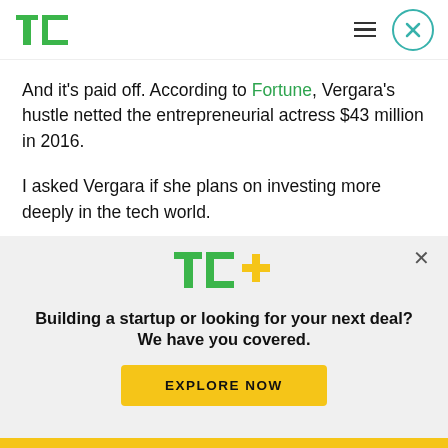TechCrunch logo, hamburger menu, close button
And it's paid off. According to Fortune, Vergara's hustle netted the entrepreneurial actress $43 million in 2016.
I asked Vergara if she plans on investing more deeply in the tech world.
"I have to get closer to the tech world," said
[Figure (logo): TC+ logo with green TC letters and yellow plus sign]
Building a startup or looking for your next deal? We have you covered.
EXPLORE NOW